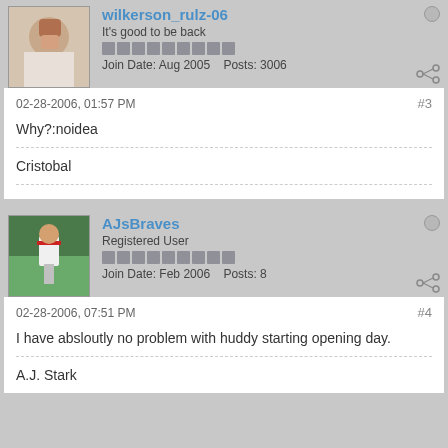wilkerson_rulz-06 | It's good to be back | Join Date: Aug 2005  Posts: 3006
02-28-2006, 01:57 PM  #3
Why?:noidea
Cristobal
AJsBraves | Registered User | Join Date: Feb 2006  Posts: 8
02-28-2006, 07:51 PM  #4
I have absloutly no problem with huddy starting opening day.
A.J. Stark